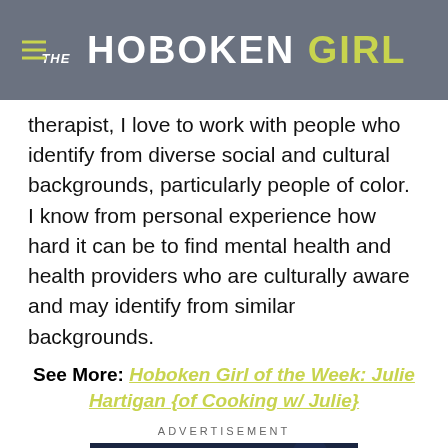THE HOBOKEN GIRL
therapist, I love to work with people who identify from diverse social and cultural backgrounds, particularly people of color. I know from personal experience how hard it can be to find mental health and health providers who are culturally aware and may identify from similar backgrounds.
See More: Hoboken Girl of the Week: Julie Hartigan {of Cooking w/ Julie}
ADVERTISEMENT
[Figure (other): Dark blue advertisement banner with text JOIN US FOR]